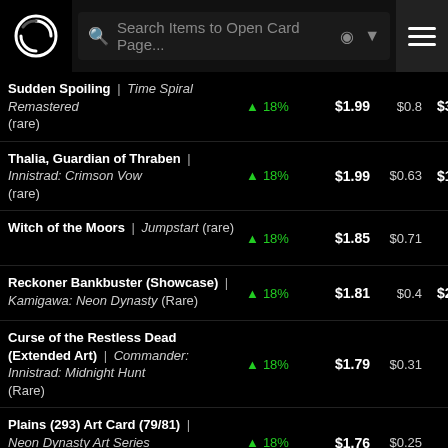Search Items to Open Card Page...
| Card | Change | Price | Low | High | Action |
| --- | --- | --- | --- | --- | --- |
| Sudden Spoiling | Time Spiral Remastered (rare) | ▲ 18% | $1.99 | $0.8 | $3.14 | Add to Wat |
| Thalia, Guardian of Thraben | Innistrad: Crimson Vow (rare) | ▲ 18% | $1.99 | $0.63 | $1.77 | Add to Wat |
| Witch of the Moors | Jumpstart (rare) | ▲ 18% | $1.85 | $0.71 |  | Add to Wat |
| Reckoner Bankbuster (Showcase) | Kamigawa: Neon Dynasty (Rare) | ▲ 18% | $1.81 | $0.4 | $2.11 | Add to Wat |
| Curse of the Restless Dead (Extended Art) | Commander: Innistrad: Midnight Hunt (Rare) | ▲ 18% | $1.79 | $0.31 |  | Add to Wat |
| Plains (293) Art Card (79/81) | Neon Dynasty Art Series (Special) | ▲ 18% | $1.76 | $0.25 |  | Add to Wat |
| Reckless | ▲ 18% | $1.68 | $1 |  | Add to Wat |